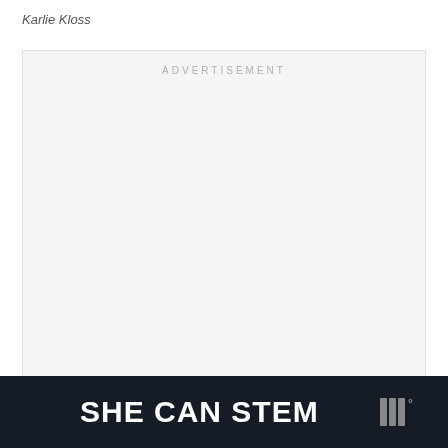Karlie Kloss
[Figure (other): Advertisement placeholder box with light gray background and 'ADVERTISEMENT' label at top center]
SHE CAN STEM